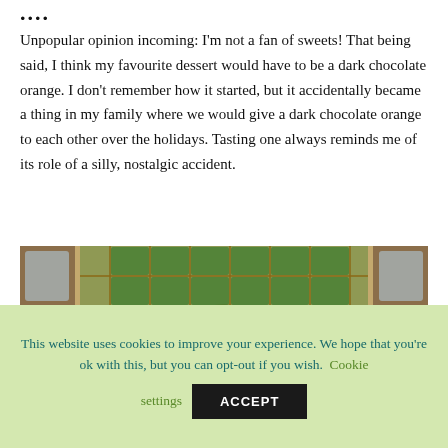....
Unpopular opinion incoming: I'm not a fan of sweets! That being said, I think my favourite dessert would have to be a dark chocolate orange. I don't remember how it started, but it accidentally became a thing in my family where we would give a dark chocolate orange to each other over the holidays. Tasting one always reminds me of its role of a silly, nostalgic accident.
[Figure (photo): Interior photograph of an ornate building hall with arched gold and green decorated ceiling, chandeliers, and stone columns. Candy canes visible on the left side.]
This website uses cookies to improve your experience. We hope that you're ok with this, but you can opt-out if you wish. Cookie settings ACCEPT